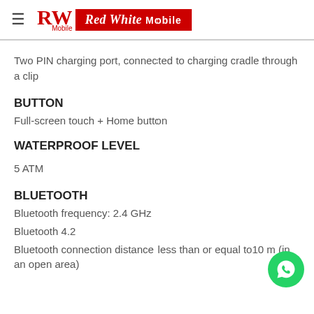RW Mobile | Red White Mobile
Two PIN charging port, connected to charging cradle through a clip
BUTTON
Full-screen touch + Home button
WATERPROOF LEVEL
5 ATM
BLUETOOTH
Bluetooth frequency: 2.4 GHz
Bluetooth 4.2
Bluetooth connection distance less than or equal to10 m (in an open area)
[Figure (logo): WhatsApp contact button (green circle with phone icon)]